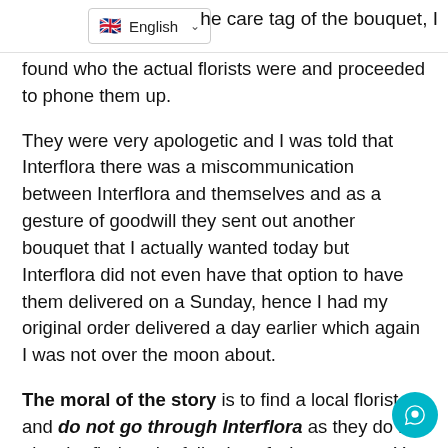English (language selector dropdown)
he care tag of the bouquet, I found who the actual florists were and proceeded to phone them up.
They were very apologetic and I was told that Interflora there was a miscommunication between Interflora and themselves and as a gesture of goodwill they sent out another bouquet that I actually wanted today but Interflora did not even have that option to have them delivered on a Sunday, hence I had my original order delivered a day earlier which again I was not over the moon about.
The moral of the story is to find a local florist and do not go through Interflora as they do not give the florists the full price of what you pay. You will get better value for money going to the florist directly.
Therefore I would like to say and on behalf of my